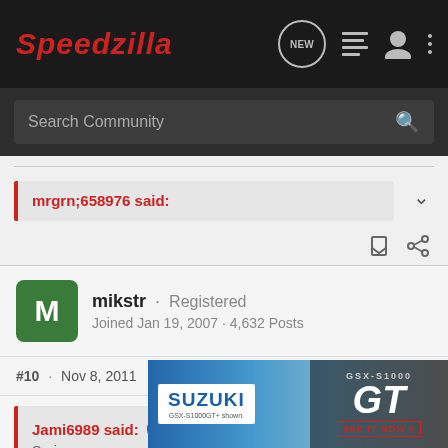Speedzilla — NEW, list, user, menu icons; Search Community
mrgrn;658976 said:
mikstr · Registered
Joined Jan 19, 2007 · 4,632 Posts
#10 · Nov 8, 2011
Jami6989 said: ↑
Seriou...
[Figure (screenshot): Suzuki GSX-S1000 GT advertisement banner at bottom of page]